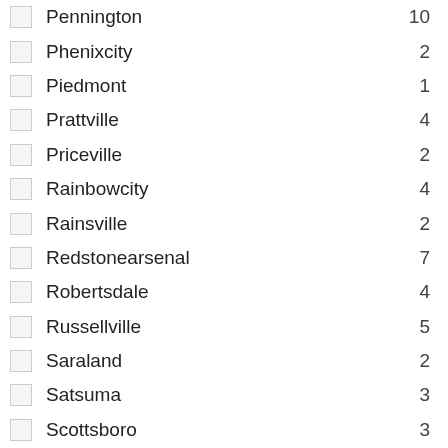Pennington 10
Phenixcity 2
Piedmont 1
Prattville 4
Priceville 2
Rainbowcity 4
Rainsville 2
Redstonearsenal 7
Robertsdale 4
Russellville 5
Saraland 2
Satsuma 3
Scottsboro 3